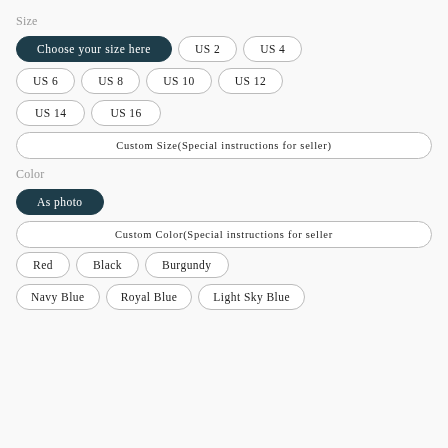Size
Choose your size here
US 2
US 4
US 6
US 8
US 10
US 12
US 14
US 16
Custom Size(Special instructions for seller)
Color
As photo
Custom Color(Special instructions for seller
Red
Black
Burgundy
Navy Blue
Royal Blue
Light Sky Blue